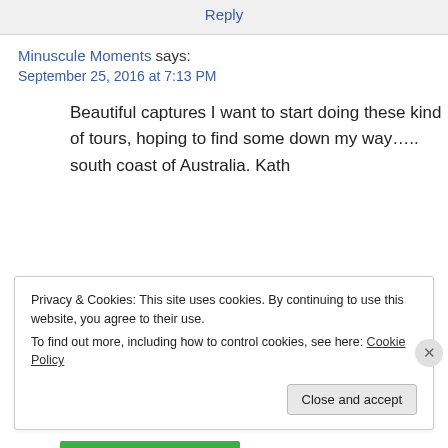Reply
Minuscule Moments says:
September 25, 2016 at 7:13 PM
Beautiful captures I want to start doing these kind of tours, hoping to find some down my way….. south coast of Australia. Kath
Privacy & Cookies: This site uses cookies. By continuing to use this website, you agree to their use.
To find out more, including how to control cookies, see here: Cookie Policy